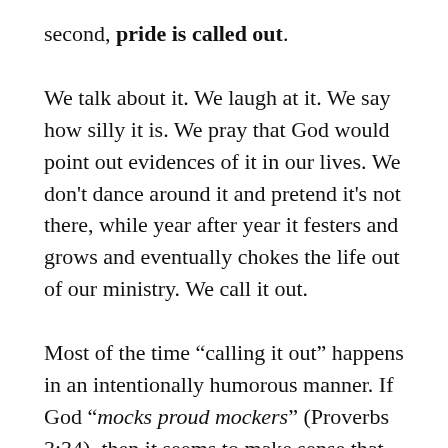second, pride is called out.
We talk about it. We laugh at it. We say how silly it is. We pray that God would point out evidences of it in our lives. We don't dance around it and pretend it's not there, while year after year it festers and grows and eventually chokes the life out of our ministry. We call it out.
Most of the time “calling it out” happens in an intentionally humorous manner. If God “mocks proud mockers” (Proverbs 3:34), then it seems to make sense that we would also view pride as deserving mocking. At our monthly meetings, or in rehearsals, I’ll just try to find ways to